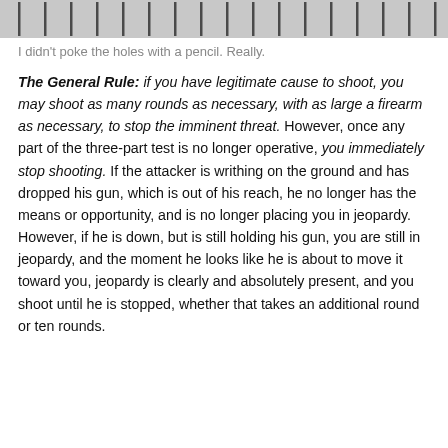[Figure (photo): A strip image showing holes punched in a target or paper, with vertical dark marks against a gray background.]
I didn't poke the holes with a pencil. Really.
The General Rule: if you have legitimate cause to shoot, you may shoot as many rounds as necessary, with as large a firearm as necessary, to stop the imminent threat. However, once any part of the three-part test is no longer operative, you immediately stop shooting. If the attacker is writhing on the ground and has dropped his gun, which is out of his reach, he no longer has the means or opportunity, and is no longer placing you in jeopardy. However, if he is down, but is still holding his gun, you are still in jeopardy, and the moment he looks like he is about to move it toward you, jeopardy is clearly and absolutely present, and you shoot until he is stopped, whether that takes an additional round or ten rounds.